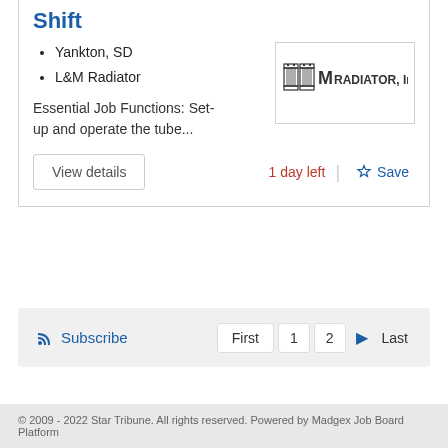Shift
Yankton, SD
L&M Radiator
Essential Job Functions: Set-up and operate the tube...
[Figure (logo): L&M Radiator, Inc. company logo]
View details | 1 day left | Save
Subscribe | First  1  2  ▶  Last
© 2009 - 2022 Star Tribune. All rights reserved. Powered by Madgex Job Board Platform